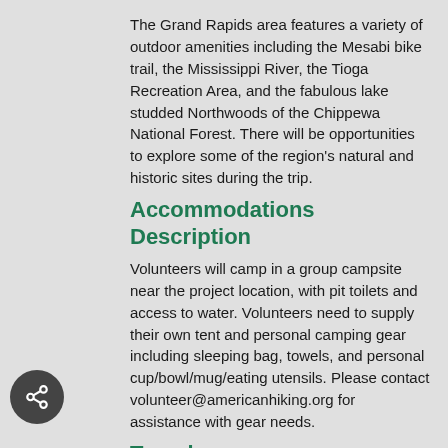The Grand Rapids area features a variety of outdoor amenities including the Mesabi bike trail, the Mississippi River, the Tioga Recreation Area, and the fabulous lake studded Northwoods of the Chippewa National Forest. There will be opportunities to explore some of the region's natural and historic sites during the trip.
Accommodations Description
Volunteers will camp in a group campsite near the project location, with pit toilets and access to water. Volunteers need to supply their own tent and personal camping gear including sleeping bag, towels, and personal cup/bowl/mug/eating utensils. Please contact volunteer@americanhiking.org for assistance with gear needs.
Travel
Bemidji Regional Airport in Bemidji, MN is the closest airport. Airport pick up and drop off is available for volunteers and will be arranged upon confirmation of the trip.